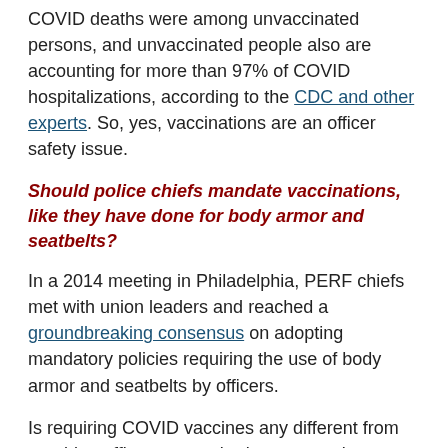COVID deaths were among unvaccinated persons, and unvaccinated people also are accounting for more than 97% of COVID hospitalizations, according to the CDC and other experts. So, yes, vaccinations are an officer safety issue.
Should police chiefs mandate vaccinations, like they have done for body armor and seatbelts?
In a 2014 meeting in Philadelphia, PERF chiefs met with union leaders and reached a groundbreaking consensus on adopting mandatory policies requiring the use of body armor and seatbelts by officers.
Is requiring COVID vaccines any different from requiring officers to use body armor and seatbelts?
So far, government employee unions, and especially police unions, have had a mixed reaction to COVID vaccine mandates. In some cases, union leaders have said they don't oppose vaccines, but they believe vaccine mandates are an issue that should be negotiated. Many questions can be worked out, such as whether officers should be given a choice